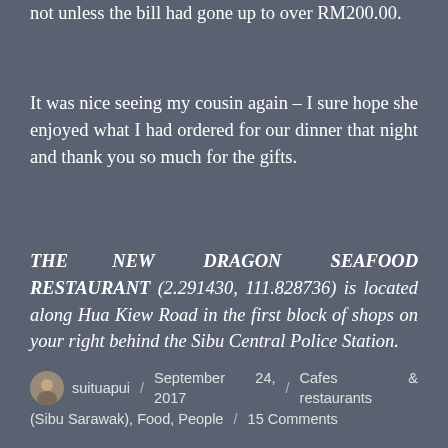not unless the bill had gone up to over RM200.00.
It was nice seeing my cousin again – I sure hope she enjoyed what I had ordered for our dinner that night and thank you so much for the gifts.
THE NEW DRAGON SEAFOOD RESTAURANT (2.291430, 111.828736) is located along Hua Kiew Road in the first block of shops on your right behind the Sibu Central Police Station.
suituapui / September 24, 2017 / Cafes & restaurants (Sibu Sarawak), Food, People / 15 Comments